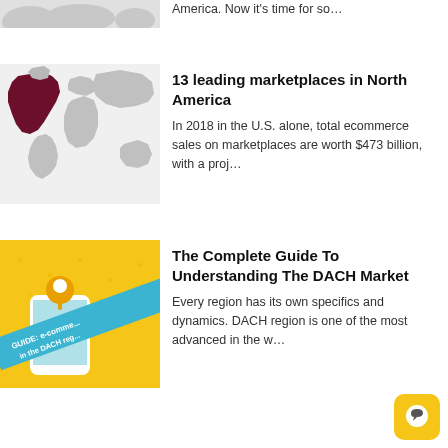America. Now it’s time for so…
[Figure (map): World map with North America highlighted in dark red/maroon]
13 leading marketplaces in North America
In 2018 in the U.S. alone, total ecommerce sales on marketplaces are worth $473 billion, with a proj…
[Figure (illustration): GUIDE: e-commerce in the DACH region — illustrated cover showing a phone with a map pin and a ribbon/banner on yellow background]
The Complete Guide To Understanding The DACH Market
Every region has its own specifics and dynamics. DACH region is one of the most advanced in the w…